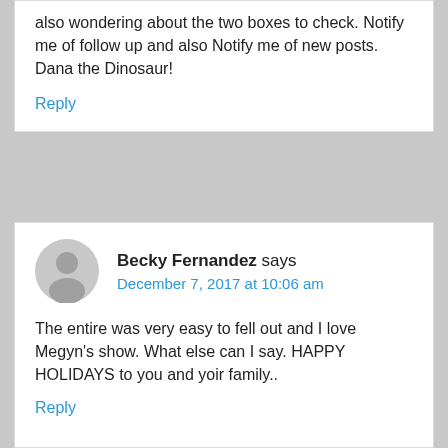also wondering about the two boxes to check. Notify me of follow up and also Notify me of new posts. Dana the Dinosaur!
Reply
Becky Fernandez says
December 7, 2017 at 10:06 am
The entire was very easy to fell out and I love Megyn's show. What else can I say. HAPPY HOLIDAYS to you and yoir family..
Reply